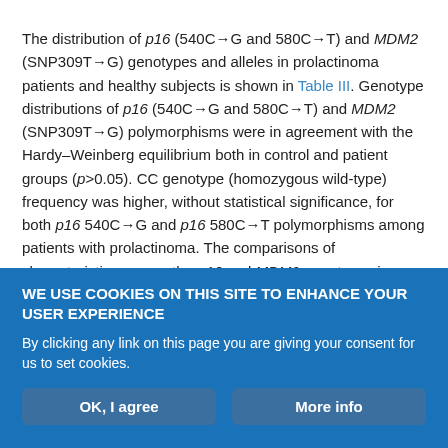The distribution of p16 (540C→G and 580C→T) and MDM2 (SNP309T→G) genotypes and alleles in prolactinoma patients and healthy subjects is shown in Table III. Genotype distributions of p16 (540C→G and 580C→T) and MDM2 (SNP309T→G) polymorphisms were in agreement with the Hardy–Weinberg equilibrium both in control and patient groups (p>0.05). CC genotype (homozygous wild-type) frequency was higher, without statistical significance, for both p16 540C→G and p16 580C→T polymorphisms among patients with prolactinoma. The comparisons of characteristics among the p16 and MDM2 genotypes in patients with prolactinoma
WE USE COOKIES ON THIS SITE TO ENHANCE YOUR USER EXPERIENCE
By clicking any link on this page you are giving your consent for us to set cookies.